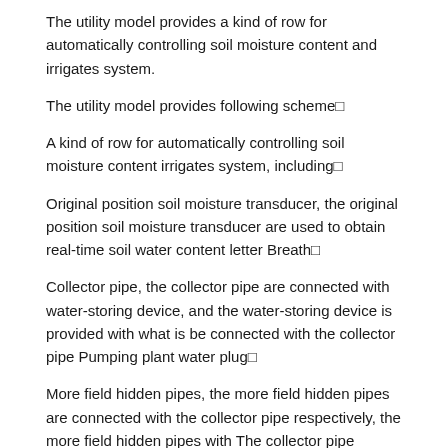The utility model provides a kind of row for automatically controlling soil moisture content and irrigates system.
The utility model provides following scheme»
A kind of row for automatically controlling soil moisture content irrigates system, including»
Original position soil moisture transducer, the original position soil moisture transducer are used to obtain real-time soil water content letter Breath»
Collector pipe, the collector pipe are connected with water-storing device, and the water-storing device is provided with what is be connected with the collector pipe Pumping plant water plug»
More field hidden pipes, the more field hidden pipes are connected with the collector pipe respectively, the more field hidden pipes with The collector pipe connecting place is both provided with solenoid valve»
Fine-spraying belt, the fine-spraying belt include microspray irrigation band, and the microspray irrigation band is connected with the collector pipe»